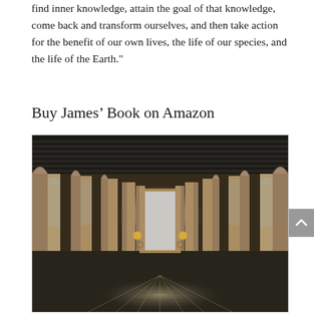find inner knowledge, attain the goal of that knowledge, come back and transform ourselves, and then take action for the benefit of our own lives, the life of our species, and the life of the Earth."
Buy James' Book on Amazon
[Figure (photo): A long corridor or hallway with arched columns on both sides, a dark slatted ceiling, and a bright glowing doorway at the far end. Warm lights flank the doorway. The floor has a decorative tiled pattern with a star/starburst reflection of light.]